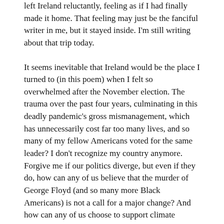left Ireland reluctantly, feeling as if I had finally made it home. That feeling may just be the fanciful writer in me, but it stayed inside. I'm still writing about that trip today.
It seems inevitable that Ireland would be the place I turned to (in this poem) when I felt so overwhelmed after the November election. The trauma over the past four years, culminating in this deadly pandemic's gross mismanagement, which has unnecessarily cost far too many lives, and so many of my fellow Americans voted for the same leader? I don't recognize my country anymore. Forgive me if our politics diverge, but even if they do, how can any of us believe that the murder of George Floyd (and so many more Black Americans) is not a call for a major change? And how can any of us choose to support climate change deniers when the evidence becomes more urgent every day?
I know that my home is here, in America, and that this is